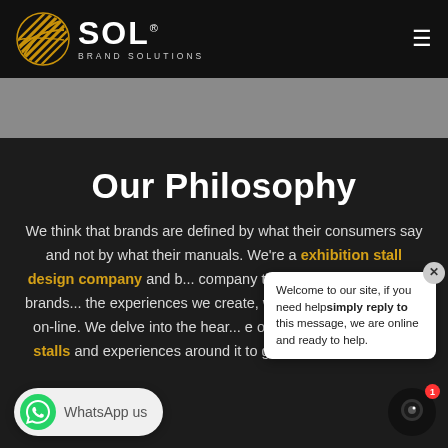[Figure (logo): SOL Brand Solutions logo with golden sphere icon and white text]
Our Philosophy
We think that brands are defined by what their consumers say and not by what their manuals. We're a exhibition stall design company and b... company that believes in elevating brands... the experiences we create, whether they... ground or on-line. We delve into the hear... e one-of-a-kind exhibition stalls and experiences around it to give it its own voice and